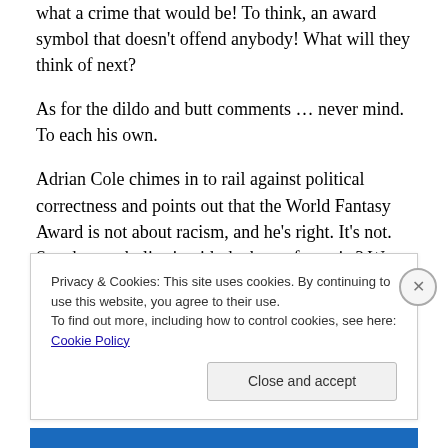what a crime that would be!  To think, an award symbol that doesn't offend anybody!  What will they think of next?
As for the dildo and butt comments … never mind.  To each his own.
Adrian Cole chimes in to rail against political correctness and points out that the World Fantasy Award is not about racism, and he's right.  It's not.  So why symbolise it with the bust of a racist?  We are then chided on getting 'too soft' and life's too short to be 'particular' and 'sensitive.'  In
Privacy & Cookies: This site uses cookies. By continuing to use this website, you agree to their use.
To find out more, including how to control cookies, see here: Cookie Policy